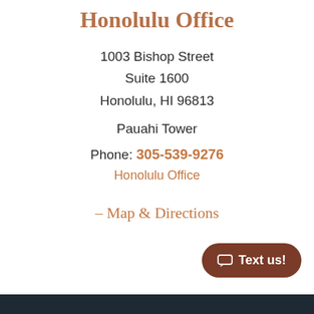Honolulu Office
1003 Bishop Street
Suite 1600
Honolulu, HI 96813
Pauahi Tower
Phone: 305-539-9276
Honolulu Office
– Map & Directions
Text us!